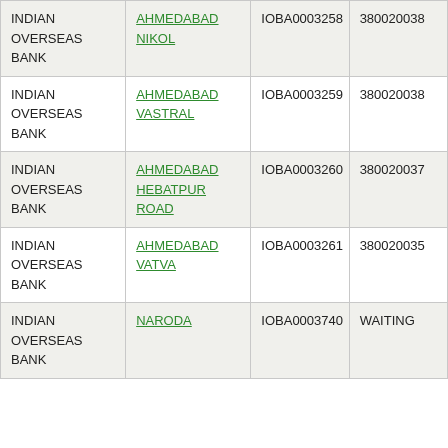| INDIAN OVERSEAS BANK | AHMEDABAD NIKOL | IOBA0003258 | 380020038 |
| INDIAN OVERSEAS BANK | AHMEDABAD VASTRAL | IOBA0003259 | 380020038 |
| INDIAN OVERSEAS BANK | AHMEDABAD HEBATPUR ROAD | IOBA0003260 | 380020037 |
| INDIAN OVERSEAS BANK | AHMEDABAD VATVA | IOBA0003261 | 380020035 |
| INDIAN OVERSEAS BANK | NARODA | IOBA0003740 | WAITING |